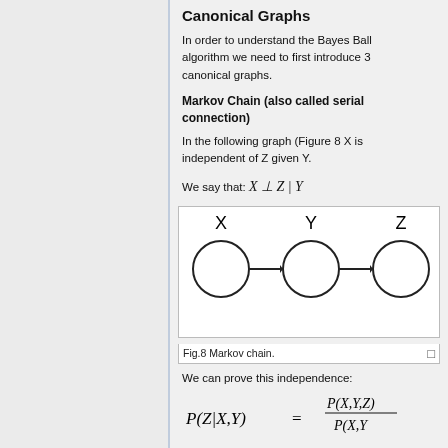Canonical Graphs
In order to understand the Bayes Ball algorithm we need to first introduce 3 canonical graphs.
Markov Chain (also called serial connection)
In the following graph (Figure 8 X is independent of Z given Y.
We say that: X ⊥ Z | Y
[Figure (flowchart): Markov chain diagram with three nodes X, Y, Z connected by directed arrows X→Y→Z]
Fig.8 Markov chain.
We can prove this independence: